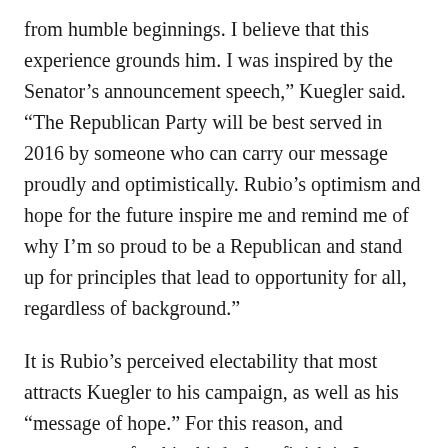from humble beginnings. I believe that this experience grounds him. I was inspired by the Senator's announcement speech," Kuegler said. "The Republican Party will be best served in 2016 by someone who can carry our message proudly and optimistically. Rubio's optimism and hope for the future inspire me and remind me of why I'm so proud to be a Republican and stand up for principles that lead to opportunity for all, regardless of background."
It is Rubio's perceived electability that most attracts Kuegler to his campaign, as well as his “message of hope.” For this reason, and momentum after his third-place finish in Iowa, Kuegler believes Rubio will win New Hampshire.
Kuegler also offered his take on why young people aren’t particularly active in politics.